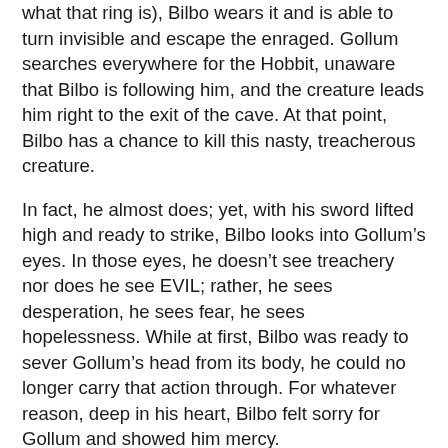what that ring is), Bilbo wears it and is able to turn invisible and escape the enraged. Gollum searches everywhere for the Hobbit, unaware that Bilbo is following him, and the creature leads him right to the exit of the cave. At that point, Bilbo has a chance to kill this nasty, treacherous creature.
In fact, he almost does; yet, with his sword lifted high and ready to strike, Bilbo looks into Gollum's eyes. In those eyes, he doesn't see treachery nor does he see EVIL; rather, he sees desperation, he sees fear, he sees hopelessness. While at first, Bilbo was ready to sever Gollum's head from its body, he could no longer carry that action through. For whatever reason, deep in his heart, Bilbo felt sorry for Gollum and showed him mercy.
“It’s a pity Bilbo didn’t kill [Gollum] when he had the chance,” Frodo lamented.
“Pity?” Gandalf asked quizzically. “It was pity that stayed Bilbo’s hand. Many that live deserve death, and some that die